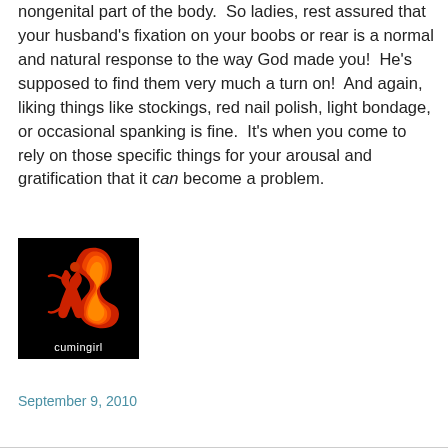nongenital part of the body.  So ladies, rest assured that your husband's fixation on your boobs or rear is a normal and natural response to the way God made you!  He's supposed to find them very much a turn on!  And again, liking things like stockings, red nail polish, light bondage, or occasional spanking is fine.  It's when you come to rely on those specific things for your arousal and gratification that it can become a problem.
[Figure (logo): Black square logo with a stylized red and orange flame/woman figure. Text below reads 'cumingirl'.]
September 9, 2010